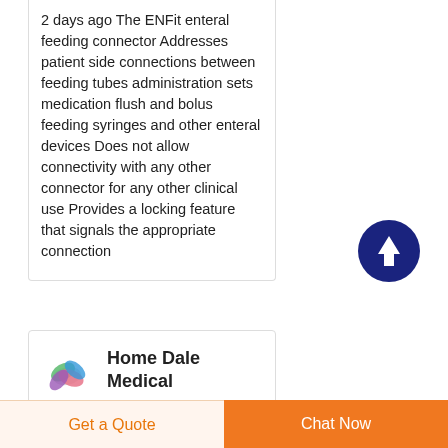2 days ago The ENFit enteral feeding connector Addresses patient side connections between feeding tubes administration sets medication flush and bolus feeding syringes and other enteral devices Does not allow connectivity with any other connector for any other clinical use Provides a locking feature that signals the appropriate connection
[Figure (other): Dark blue circular button with white upward arrow icon (scroll to top button)]
Home Dale Medical
[Figure (logo): Home Dale Medical logo: colorful overlapping oval shapes in green, pink, purple, and blue]
Get a Quote
Chat Now